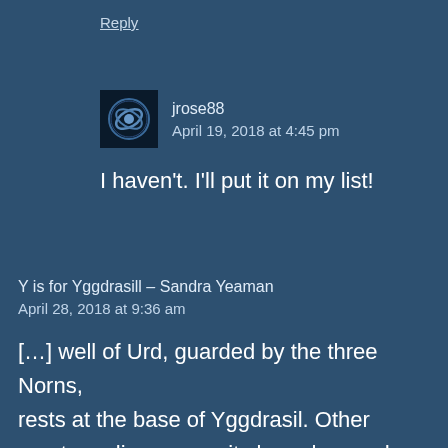Reply
jrose88
April 19, 2018 at 4:45 pm
I haven't. I'll put it on my list!
Y is for Yggdrasill – Sandra Yeaman
April 28, 2018 at 9:36 am
[…] well of Urd, guarded by the three Norns, rests at the base of Yggdrasil. Other creatures live among its branches and